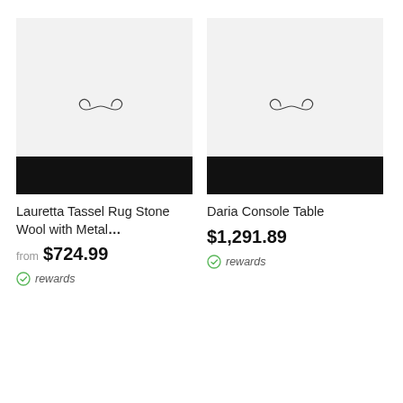[Figure (illustration): Product image placeholder for Lauretta Tassel Rug Stone Wool with Metal, light gray background with infinity-like logo, black bar at bottom]
[Figure (illustration): Product image placeholder for Daria Console Table, light gray background with infinity-like logo, black bar at bottom]
Lauretta Tassel Rug Stone Wool with Metal...
from $724.99
rewards
Daria Console Table
$1,291.89
rewards